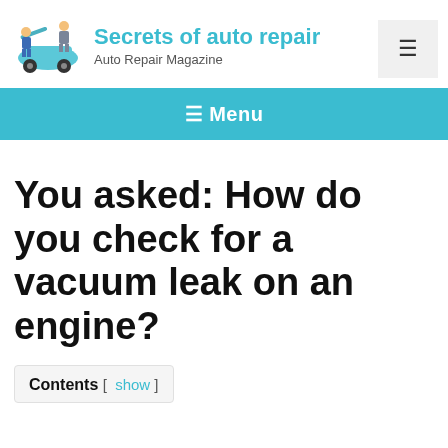Secrets of auto repair — Auto Repair Magazine
You asked: How do you check for a vacuum leak on an engine?
Contents [ show ]